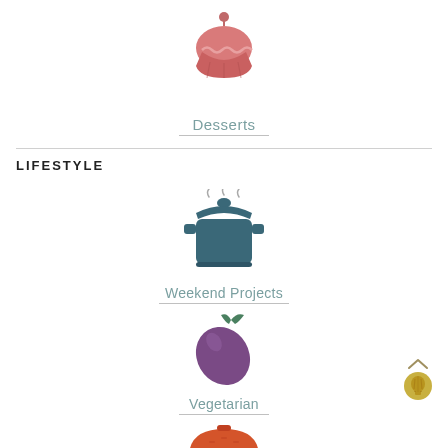[Figure (illustration): Pink cupcake icon with cherry on top]
Desserts
LIFESTYLE
[Figure (illustration): Teal/slate blue cooking pot with lid icon]
Weekend Projects
[Figure (illustration): Purple eggplant icon]
Vegetarian
[Figure (illustration): Red/orange kettle grill BBQ icon]
[Figure (illustration): Gold hot air balloon icon with scroll arrow above]